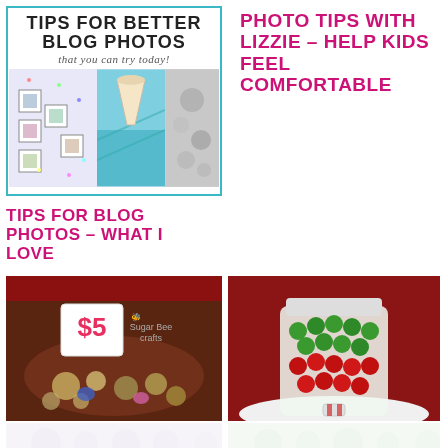[Figure (illustration): Tips for Better Blog Photos that you can try today! - decorative image with teal border and photo collage]
PHOTO TIPS WITH LIZZIE – HELP KIDS FEEL COMFORTABLE
TIPS FOR BLOG PHOTOS – WHAT I LOVE
[Figure (photo): Jewelry items with $5 price tag, Sugar Bee Crafts branding]
[Figure (photo): Jar filled with red and green M&M candies on white plate]